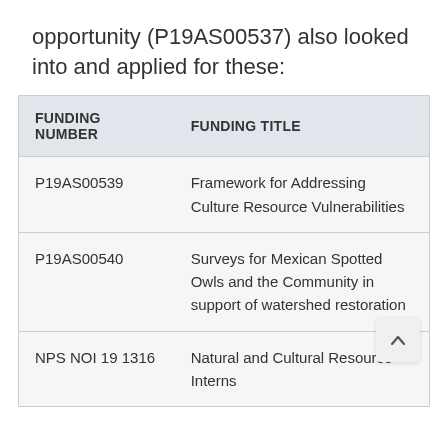opportunity (P19AS00537) also looked into and applied for these:
| FUNDING NUMBER | FUNDING TITLE |
| --- | --- |
| P19AS00539 | Framework for Addressing Culture Resource Vulnerabilities |
| P19AS00540 | Surveys for Mexican Spotted Owls and the Community in support of watershed restoration |
| NPS NOI 19 1316 | Natural and Cultural Resource Interns |